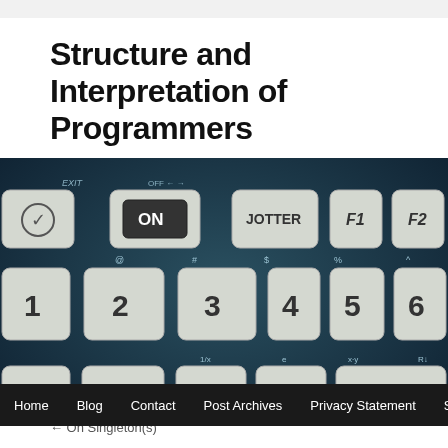Structure and Interpretation of Programmers
[Figure (photo): Close-up photograph of a vintage calculator or computer keyboard with white keys showing labels: checkmark key, ON button, JOTTER, F1, F2, number keys 1-6 with @ # $ % ^ symbols, QWERTY row keys Q W E R T, and home row keys A S D F G. Dark blue/teal background.]
Home   Blog   Contact   Post Archives   Privacy Statement   So
← On Singleton(s)